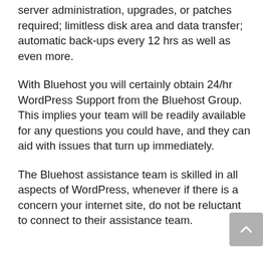server administration, upgrades, or patches required; limitless disk area and data transfer; automatic back-ups every 12 hrs as well as even more.
With Bluehost you will certainly obtain 24/hr WordPress Support from the Bluehost Group. This implies your team will be readily available for any questions you could have, and they can aid with issues that turn up immediately.
The Bluehost assistance team is skilled in all aspects of WordPress, whenever if there is a concern your internet site, do not be reluctant to connect to their assistance team.